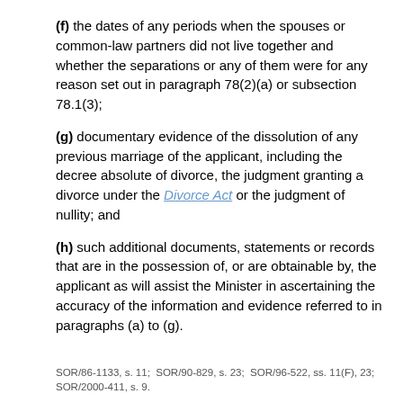(f) the dates of any periods when the spouses or common-law partners did not live together and whether the separations or any of them were for any reason set out in paragraph 78(2)(a) or subsection 78.1(3);
(g) documentary evidence of the dissolution of any previous marriage of the applicant, including the decree absolute of divorce, the judgment granting a divorce under the Divorce Act or the judgment of nullity; and
(h) such additional documents, statements or records that are in the possession of, or are obtainable by, the applicant as will assist the Minister in ascertaining the accuracy of the information and evidence referred to in paragraphs (a) to (g).
SOR/86-1133, s. 11;  SOR/90-829, s. 23;  SOR/96-522, ss. 11(F), 23;  SOR/2000-411, s. 9.